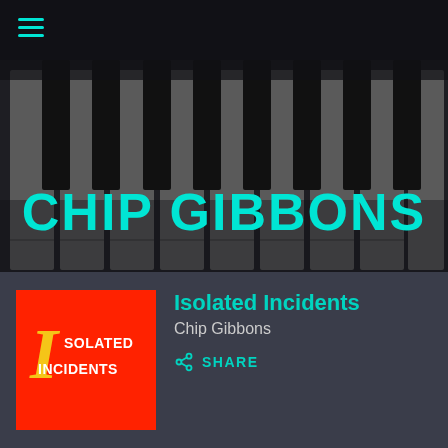[Figure (photo): Dark close-up photo of piano keyboard keys (black and white keys) used as hero background image]
CHIP GIBBONS
[Figure (illustration): Red square album art with stylized letter I in gold/yellow italic font and text ISOLATED INCIDENTS in white on red background]
Isolated Incidents
Chip Gibbons
SHARE
Synthesizer improvisations created with Animoog app for iPad, inspired by